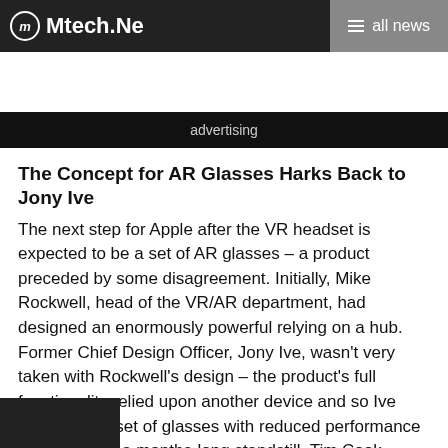m Mtech.Ne  ≡ all news
advertising
The Concept for AR Glasses Harks Back to Jony Ive
The next step for Apple after the VR headset is expected to be a set of AR glasses – a product preceded by some disagreement. Initially, Mike Rockwell, head of the VR/AR department, had designed an enormously powerful relying on a hub. Former Chief Design Officer, Jony Ive, wasn't very taken with Rockwell's design – the product's full functionality relied upon another device and so Ive suggested a set of glasses with reduced performance instead. After a months-long standstill, Tim Cook involved himself, ultimately deciding upon going forward with Ive's concept – meaning Apple's AR glasses won't need any other